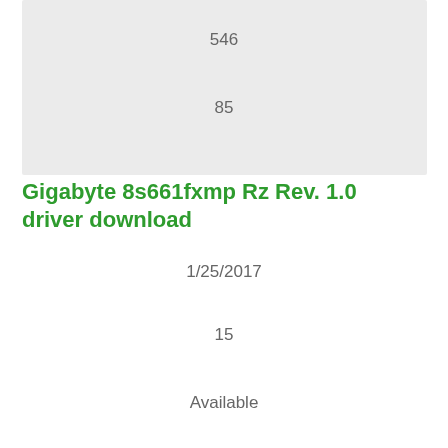[Figure (other): Gray background box area]
546
85
Gigabyte 8s661fxmp Rz Rev. 1.0 driver download
1/25/2017
15
Available